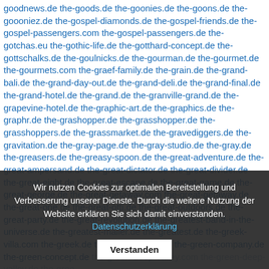goodnews.de the-goods.de the-goonies.de the-goons.de the-goooniez.de the-gospel-diamonds.de the-gospel-friends.de the-gospel-passengers.com the-gospel-passengers.de the-gotchas.eu the-gothic-life.de the-gotthard-concept.de the-gottschalks.de the-goulnicks.de the-gourman.de the-gourmet.de the-gourmets.com the-graef-family.de the-grain.de the-grand-bali.de the-grand-day-out.de the-grand-deli.de the-grand-final.de the-grand-hotel.de the-grand.de the-granville-grand.de the-grapevine-hotel.de the-graphic-art.de the-graphics.de the-graphr.de the-grashopper.de the-grasshopper.de the-grasshoppers.de the-grassmarket.de the-gravediggers.de the-gravitation.de the-gray-page.de the-gray-studio.de the-gray.de the-greasers.de the-greasy-spoon.de the-great-adventure.de the-great-ampersand.de the-great-dictator.de the-great-divider.de the-great-eight.de the-great-escape.de the-great-game.de the-great-george.de the-great-getaway.com the-great-getaway.de the-great-one.de the-great-otti.de the-great-outdoors.de the-great-party.de the-great-revolution.de the-greatest-band-in-the-universe.de the-greatest-mailer.de the-greatest.de the-greek-villa.com the-greek.de the-green-bike.com the-green-company.de the-green-concept.de the-green-deep-valley.com the-green-deep-valley.de the-green-guesthouse.de the-greenm... the-green-Lake.de the-greensboro.de the-green-take.de the-house.de the-greens... the-green-lake.de the-green-on-house.de the-green-corners...
Wir nutzen Cookies zur optimalen Bereitstellung und Verbesserung unserer Dienste. Durch die weitere Nutzung der Website erklären Sie sich damit einverstanden. Datenschutzerklärung [Verstanden]